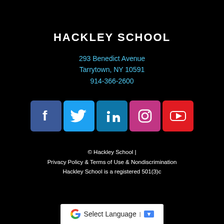HACKLEY SCHOOL
293 Benedict Avenue
Tarrytown, NY 10591
914-366-2600
[Figure (infographic): Row of five social media icons: Facebook (blue), Twitter (light blue), LinkedIn (teal), Instagram (purple/pink), YouTube (red)]
© Hackley School | Privacy Policy & Terms of Use & Nondiscrimination Hackley School is a registered 501(3)c
[Figure (other): Google Translate widget bar with 'Select Language' text and dropdown arrow]